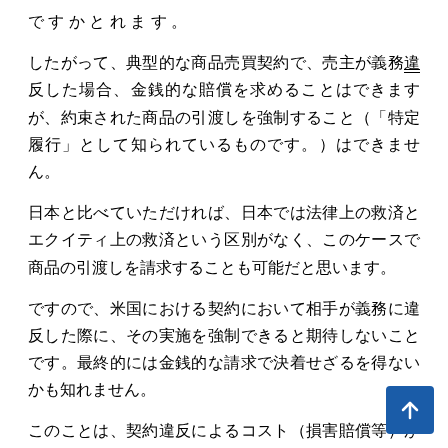で す か と れ ま す 。
したがって、典型的な商品売買契約で、売主が義務違反した場合、金銭的な賠償を求めることはできますが、約束された商品の引渡しを強制すること（「特定履行」として知られているものです。）はできません。
日本と比べていただければ、日本では法律上の救済とエクイティ上の救済という区別がなく、このケースで商品の引渡しを請求することも可能だと思います。
ですので、米国における契約において相手が義務に違反した際に、その実施を強制できると期待しないことです。最終的には金銭的な請求で決着せざるを得ないかも知れません。
このことは、契約違反によるコスト（損害賠償等）が契約義務履行のコストを下回る場合には、米国の契約当事者が日本の契約当事者と比較して契約違反をしやすいとい